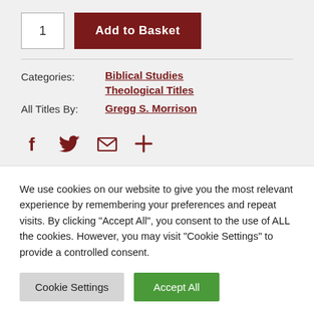1
Add to Basket
Categories:
Biblical Studies
Theological Titles
All Titles By:
Gregg S. Morrison
[Figure (other): Social sharing icons: Facebook, Twitter, Email, More (+)]
We use cookies on our website to give you the most relevant experience by remembering your preferences and repeat visits. By clicking “Accept All”, you consent to the use of ALL the cookies. However, you may visit "Cookie Settings" to provide a controlled consent.
Cookie Settings
Accept All